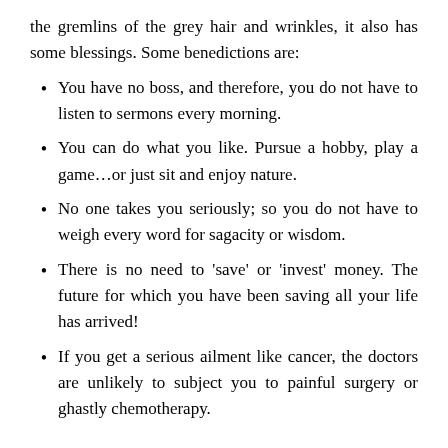the gremlins of the grey hair and wrinkles, it also has some blessings. Some benedictions are:
You have no boss, and therefore, you do not have to listen to sermons every morning.
You can do what you like. Pursue a hobby, play a game…or just sit and enjoy nature.
No one takes you seriously; so you do not have to weigh every word for sagacity or wisdom.
There is no need to 'save' or 'invest' money. The future for which you have been saving all your life has arrived!
If you get a serious ailment like cancer, the doctors are unlikely to subject you to painful surgery or ghastly chemotherapy.